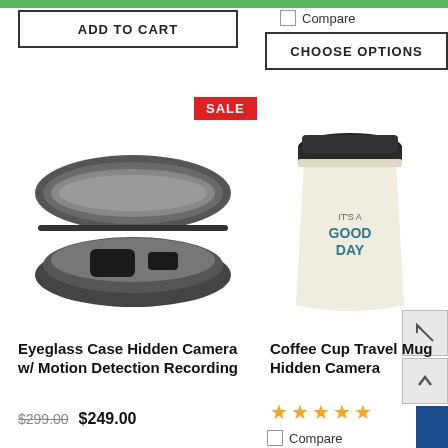ADD TO CART
Compare
CHOOSE OPTIONS
SALE
[Figure (photo): Eyeglass case opened showing interior compartment, dark gray hard shell case]
[Figure (photo): White coffee cup travel mug with black lid, text says IT'S A GOOD DAY]
NEED HELP
Eyeglass Case Hidden Camera w/ Motion Detection Recording
$299.00  $249.00
Coffee Cup Travel Mug Hidden Camera
★★★★★
Compare